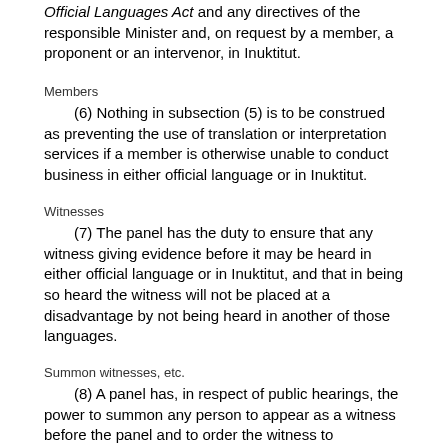Official Languages Act and any directives of the responsible Minister and, on request by a member, a proponent or an intervenor, in Inuktitut.
Members
(6) Nothing in subsection (5) is to be construed as preventing the use of translation or interpretation services if a member is otherwise unable to conduct business in either official language or in Inuktitut.
Witnesses
(7) The panel has the duty to ensure that any witness giving evidence before it may be heard in either official language or in Inuktitut, and that in being so heard the witness will not be placed at a disadvantage by not being heard in another of those languages.
Summon witnesses, etc.
(8) A panel has, in respect of public hearings, the power to summon any person to appear as a witness before the panel and to order the witness to
(a) give evidence, orally or in writing; and